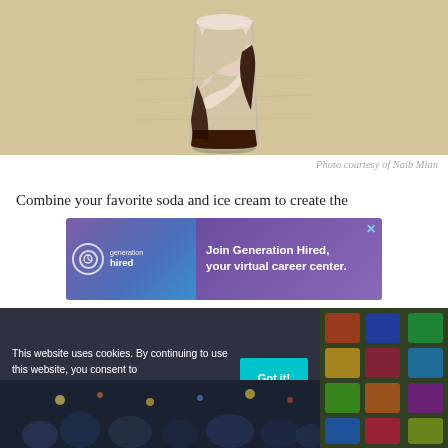[Figure (photo): A glass containing layered ice cream float with dark soda and light ice cream swirls, sitting on a wooden surface]
Photo courtesy of Naib Mian
Combine your favorite soda and ice cream to create the
[Figure (infographic): Advertisement banner for Generation Hired — Join Generation Hired, your virtual career center. Purple/blue gradient background with Generation Hired logo.]
This website uses cookies. By continuing to use this website, you consent to SpoonUniversity.com's usage of cookies and similar technologies Learn more
[Figure (photo): Bottom portion showing additional food/article photos partially visible]
[Figure (photo): Right side photo showing colorful food items]